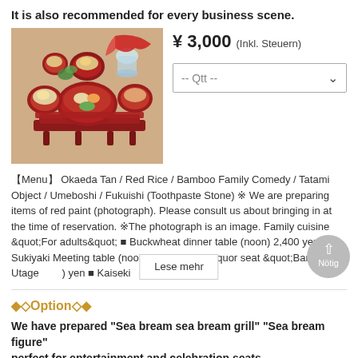It is also recommended for every business scene.
[Figure (photo): Japanese kaiseki meal with red lacquerware bowls and dishes on a red tray]
¥ 3,000 (Inkl. Steuern)
-- Qtt --
【Menu】 Okaeda Tan / Red Rice / Bamboo Family Comedy / Tatami Object / Umeboshi / Fukuishi (Toothpaste Stone) ※ We are preparing items of red paint (photograph). Please consult us about bringing in at the time of reservation. ※The photograph is an image. Family cuisine &quot;For adults&quot; ■ Buckwheat dinner table (noon) 2,400 yen ■ Sukiyaki Meeting table (noon) 3,000 yen ■ Liquor seat &quot;Banquet - Utage  yen ■ Kaiseki
Lese mehr
◆◇Option◇◆
We have prepared "Sea bream sea bream grill" "Sea bream figure" perfect for entertainment and celebration seats.